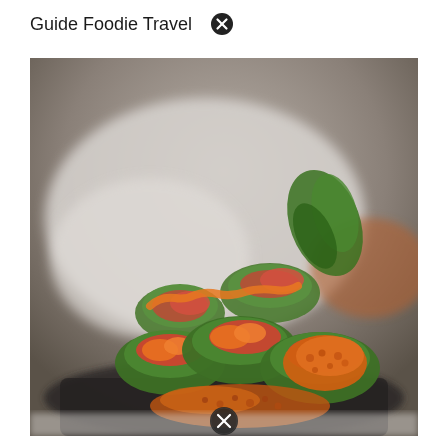Guide Foodie Travel  ✕
[Figure (photo): Close-up photo of sushi rolls arranged on a dark slate plate. The rolls are topped with avocado, red fish (tuna/salmon), orange spicy sauce and crunchy toppings. Background is blurred restaurant interior with white tablecloth and bokeh lighting. A close/dismiss icon appears at the bottom center of the image.]